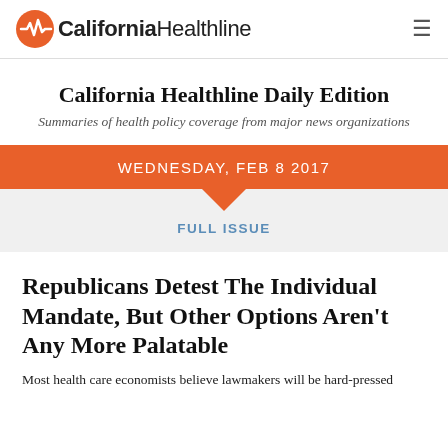California Healthline
California Healthline Daily Edition
Summaries of health policy coverage from major news organizations
WEDNESDAY, FEB 8 2017
FULL ISSUE
Republicans Detest The Individual Mandate, But Other Options Aren't Any More Palatable
Most health care economists believe lawmakers will be hard-pressed